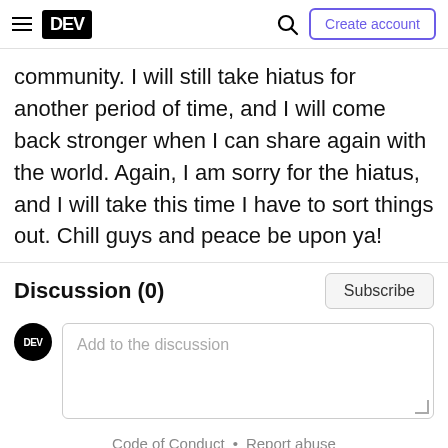DEV | Create account
community. I will still take hiatus for another period of time, and I will come back stronger when I can share again with the world. Again, I am sorry for the hiatus, and I will take this time I have to sort things out. Chill guys and peace be upon ya!
Discussion (0)
Subscribe
Add to the discussion
Code of Conduct • Report abuse
0  0  2  ...